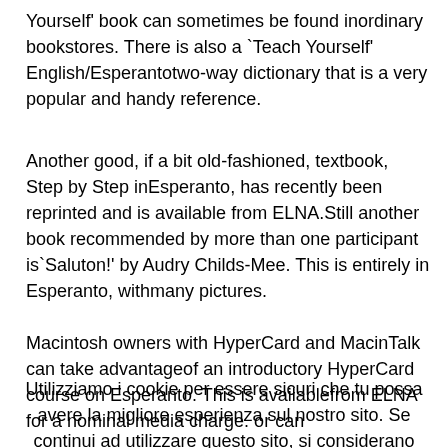Yourself' book can sometimes be found inordinary bookstores. There is also a `Teach Yourself' English/Esperantotwo-way dictionary that is a very popular and handy reference.
Another good, if a bit old-fashioned, textbook, Step by Step inEsperanto, has recently been reprinted and is available from ELNA.Still another book recommended by more than one participant is`Saluton!' by Audry Childs-Mee. This is entirely in Esperanto, withmany pictures.
Macintosh owners with HyperCard and MacinTalk can take advantageof an introductory HyperCard course on Esperanto. This is availablefrom ELNA for a nominal media charge. or can Utilizziamo i cookie per essere sicuri che tu possa avere la migliore esperienza sul nostro sito. Se continui ad utilizzare questo sito, si considerano accettati. Leggi l'informativa e come negare il consenso.